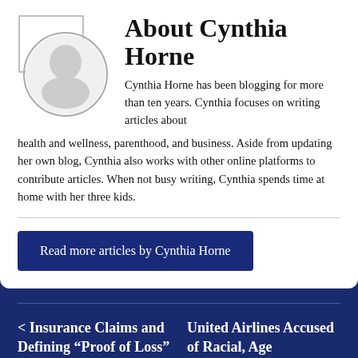[Figure (illustration): Circular author photo placeholder for Cynthia Horne with gray border]
About Cynthia Horne
Cynthia Horne has been blogging for more than ten years. Cynthia focuses on writing articles about health and wellness, parenthood, and business. Aside from updating her own blog, Cynthia also works with other online platforms to contribute articles. When not busy writing, Cynthia spends time at home with her three kids.
Read more articles by Cynthia Horne
< Insurance Claims and Defining “Proof of Loss”
United Airlines Accused of Racial, Age Discrimination in Latest